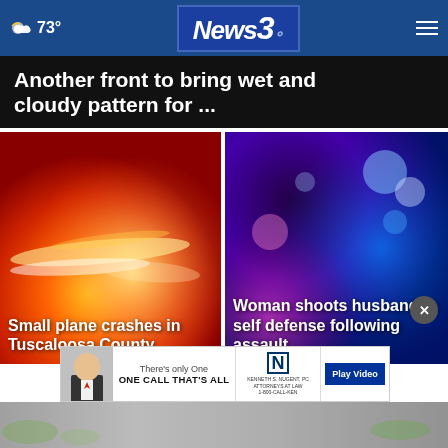73° News 3
Another front to bring wet and cloudy pattern for ...
[Figure (photo): Red/orange fire or emergency lights photo — left news card]
Small plane crashes in Tuscaloosa County
[Figure (photo): Blue/purple police lights bokeh photo — right news card]
Woman shoots husband in self defense following assault
[Figure (other): Advertisement banner: There's only One — ONE CALL THAT'S ALL — Kenneth S. Nugent, PC — 1-800-CALL-KEN — Play Video]